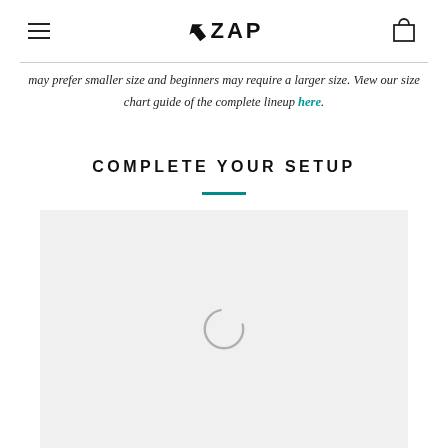ZAP (logo with hamburger menu and cart icon)
may prefer smaller size and beginners may require a larger size. View our size chart guide of the complete lineup here.
COMPLETE YOUR SETUP
[Figure (screenshot): Loading spinner / product carousel area with grey background and circular loading indicator]